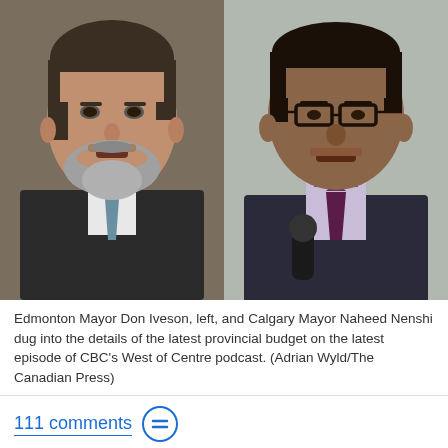[Figure (photo): Side-by-side photos of two men. Left: Edmonton Mayor Don Iveson, a white man with brown hair and a grey beard, wearing a suit and tie. Right: Calgary Mayor Naheed Nenshi, a South Asian man wearing glasses, a suit, and a purple tie, holding a microphone.]
Edmonton Mayor Don Iveson, left, and Calgary Mayor Naheed Nenshi dug into the details of the latest provincial budget on the latest episode of CBC's West of Centre podcast. (Adrian Wyld/The Canadian Press)
111 comments
Alberta's United Conservative Party deferred its